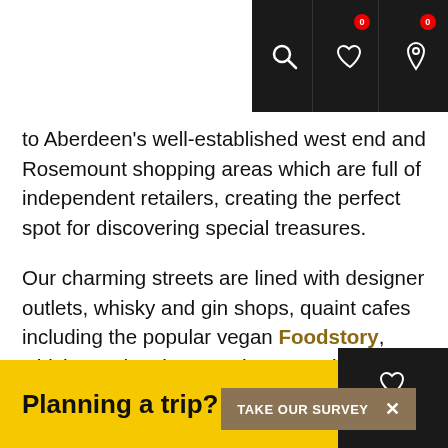Navigation bar with search, wishlist (0), and location (0) icons
to Aberdeen's well-established west end and Rosemount shopping areas which are full of independent retailers, creating the perfect spot for discovering special treasures.
Our charming streets are lined with designer outlets, whisky and gin shops, quaint cafes including the popular vegan Foodstory, which now has its own shop upstairs bursting with vegan and eco-friendly products.
In Aberdeenshire, discover charming towns and villages with an abundance of local shops selling quality souvenirs and gifts, including The Butterworth Gallery and The Spotty Bag Shop.
Planning a trip?
TAKE OUR SURVEY